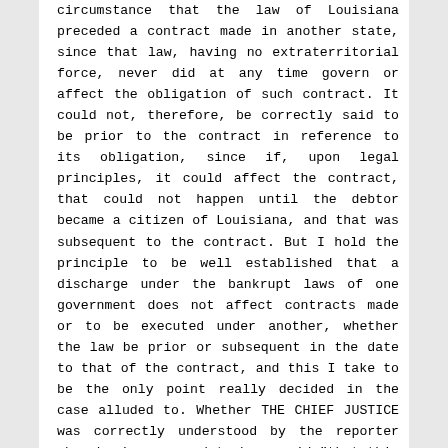circumstance that the law of Louisiana preceded a contract made in another state, since that law, having no extraterritorial force, never did at any time govern or affect the obligation of such contract. It could not, therefore, be correctly said to be prior to the contract in reference to its obligation, since if, upon legal principles, it could affect the contract, that could not happen until the debtor became a citizen of Louisiana, and that was subsequent to the contract. But I hold the principle to be well established that a discharge under the bankrupt laws of one government does not affect contracts made or to be executed under another, whether the law be prior or subsequent in the date to that of the contract, and this I take to be the only point really decided in the case alluded to. Whether THE CHIEF JUSTICE was correctly understood by the reporter when he is supposed to have said "that this case was not distinguishable in principle from the preceding case of